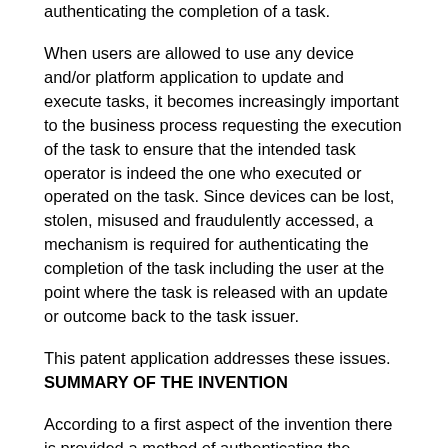authenticating the completion of a task.
When users are allowed to use any device and/or platform application to update and execute tasks, it becomes increasingly important to the business process requesting the execution of the task to ensure that the intended task operator is indeed the one who executed or operated on the task. Since devices can be lost, stolen, misused and fraudulently accessed, a mechanism is required for authenticating the completion of the task including the user at the point where the task is released with an update or outcome back to the task issuer.
This patent application addresses these issues.
SUMMARY OF THE INVENTION
According to a first aspect of the invention there is provided a method of authenticating the completion of a task, the method comprising: receiving data from a device, the data including contextual data, user identification data and task completion data including information about a task that has been completed; accessing a memory; and storing in the memory the received contextual data, user identification data and task completion data for future